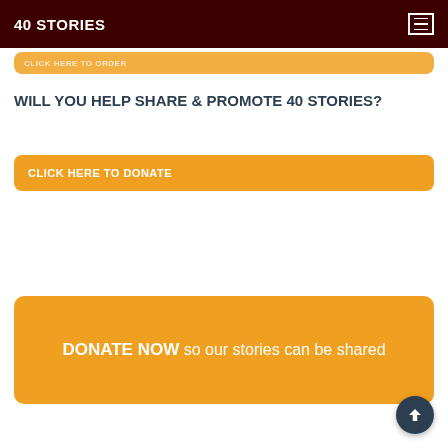40 STORIES
CLICK HERE TO ORDER
WILL YOU HELP SHARE & PROMOTE 40 STORIES?
CLICK HERE TO DONATE
DONATE NOW so our stories can be shared